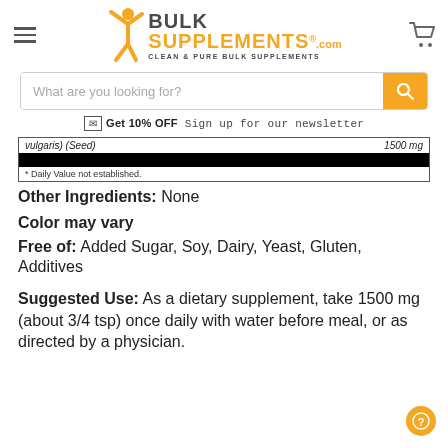[Figure (logo): BulkSupplements.com logo with orange figure, BULK SUPPLEMENTS.COM text, and tagline CLEAN & PURE BULK SUPPLEMENTS]
[Figure (screenshot): Search bar with placeholder 'What are you looking for?' and orange search button]
Get 10% OFF Sign up for our newsletter
| Ingredient | Amount |
| --- | --- |
| vulgaris) (Seed) | 1500 mg |
| [redacted row] |  |
| * Daily Value not established. |  |
Other Ingredients: None
Color may vary
Free of: Added Sugar, Soy, Dairy, Yeast, Gluten, Additives
Suggested Use: As a dietary supplement, take 1500 mg (about 3/4 tsp) once daily with water before meal, or as directed by a physician.